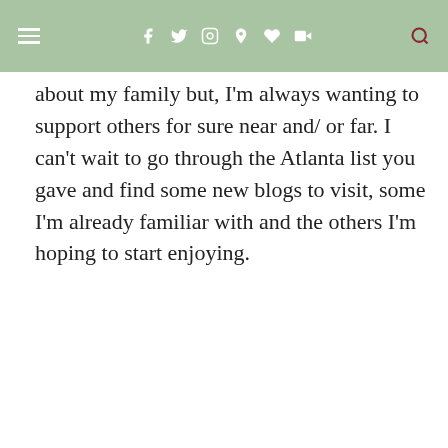≡  f  t  ◎  ⊕  ♥  ▶  🔍
about my family but, I'm always wanting to support others for sure near and/ or far. I can't wait to go through the Atlanta list you gave and find some new blogs to visit, some I'm already familiar with and the others I'm hoping to start enjoying.
BERNETTA
December 16, 2014 at 12:42 pm
Hey Renae Vashti (Veepeejay) recently posted...Easy